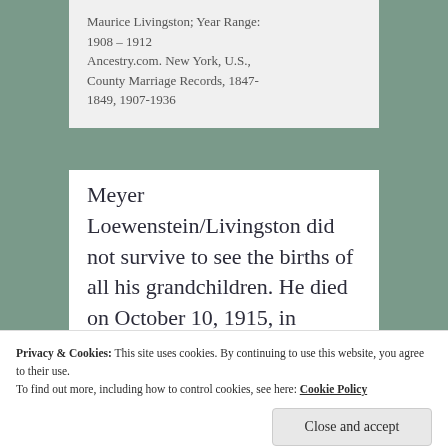Maurice Livingston; Year Range: 1908 – 1912
Ancestry.com. New York, U.S., County Marriage Records, 1847-1849, 1907-1936
Meyer Loewenstein/Livingston did not survive to see the births of all his grandchildren. He died on October 10, 1915, in Bloomington
Privacy & Cookies: This site uses cookies. By continuing to use this website, you agree to their use.
To find out more, including how to control cookies, see here: Cookie Policy
Close and accept
grandchildren. Many of those